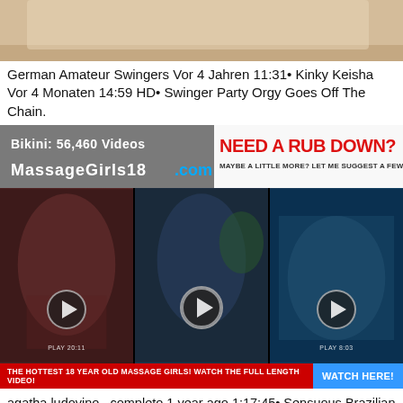[Figure (photo): Partial image of a person on a bed/couch, cropped at top]
German Amateur Swingers Vor 4 Jahren 11:31• Kinky Keisha Vor 4 Monaten 14:59 HD• Swinger Party Orgy Goes Off The Chain.
[Figure (infographic): Advertisement banner for MassageGirls18.com with text 'Bikini: 56,460 Videos' on left and 'NEED A RUB DOWN? MAYBE A LITTLE MORE? LET ME SUGGEST A FEW GIRLS!' on right]
[Figure (photo): Video strip showing three video thumbnails with play buttons. Left panel shows dark-haired woman in red. Middle panel shows dark-haired woman with plant background. Right panel shows woman on blue background. Labels: PLAY 20:11, play button center, PLAY 8:03]
THE HOTTEST 18 YEAR OLD MASSAGE GIRLS! WATCH THE FULL LENGTH VIDEO! WATCH HERE!
agatha ludovino , completo 1 year ago 1:17:45• Sensuous Brazilian gal aphrodisiac sex video Today 1:26:12 HD• Tyra helps the girls discover their individual "fashion archetypes," and gives them tips on how to deal with fame.